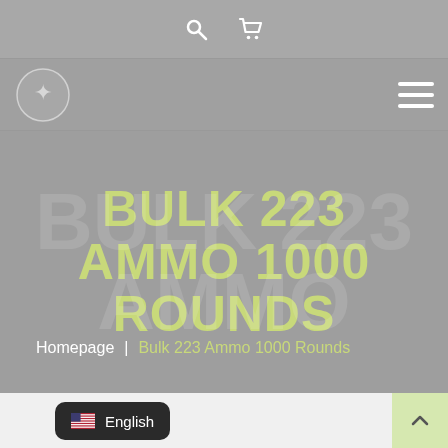Search and Cart icons
[Figure (screenshot): Website navigation bar with logo on left and hamburger menu on right]
BULK 223 AMMO 1000 ROUNDS
Homepage | Bulk 223 Ammo 1000 Rounds
[Figure (screenshot): Bottom bar with English language selector and scroll-to-top button]